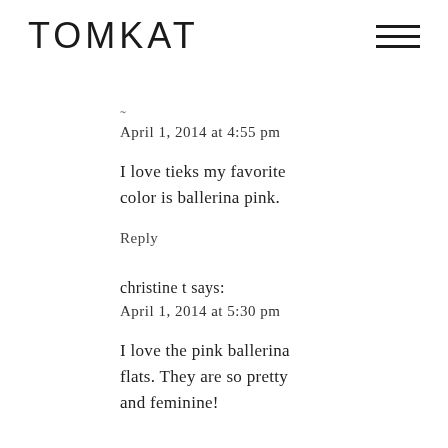TOMKAT
April 1, 2014 at 4:55 pm
I love tieks my favorite color is ballerina pink.
Reply
christine t says:
April 1, 2014 at 5:30 pm
I love the pink ballerina flats. They are so pretty and feminine!